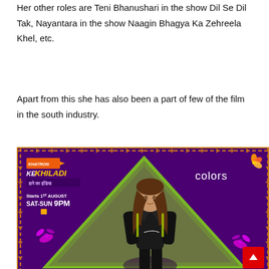Her other roles are Teni Bhanushari in the show Dil Se Dil Tak, Nayantara in the show Naagin Bhagya Ka Zehreela Khel, etc.
Apart from this she has also been a part of few of the film in the south industry.
[Figure (photo): Promotional image for Khatron Ke Khiladi Hare Ka India on Colors TV. Shows a woman in black athletic wear standing in front of a green triangle on a purple background with decorative orange border. Text reads: Khatron Ke Khiladi Hare Ka India, Starts 1st August, SAT-SUN 9PM, Colors logo top right.]